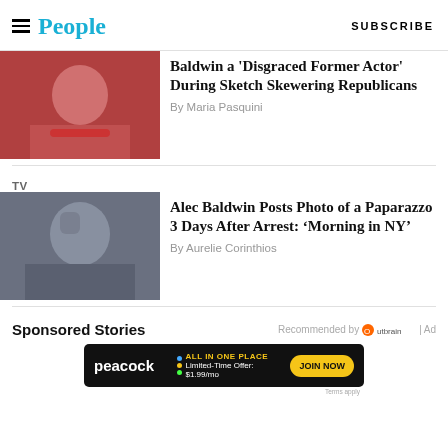People | SUBSCRIBE
Baldwin a 'Disgraced Former Actor' During Sketch Skewering Republicans
By Maria Pasquini
TV
Alec Baldwin Posts Photo of a Paparazzo 3 Days After Arrest: 'Morning in NY'
By Aurelie Corinthios
Sponsored Stories
Recommended by Outbrain | Ad
[Figure (other): Peacock ad: ALL IN ONE PLACE. Limited-Time Offer: $1.99/mo. JOIN NOW. Terms apply.]